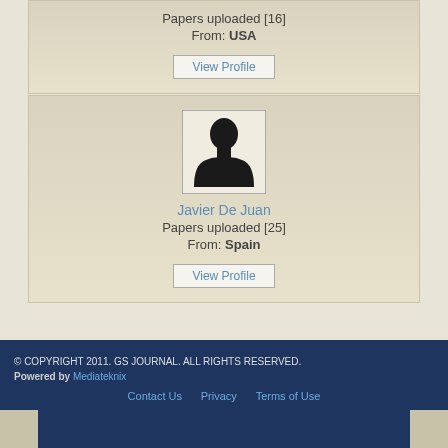Papers uploaded [16]
From: USA
View Profile
[Figure (illustration): Default silhouette profile photo placeholder — dark human bust on light background with border]
Javier De Juan
Papers uploaded [25]
From: Spain
View Profile
© COPYRIGHT 2011. GS JOURNAL. ALL RIGHTS RESERVED. Powered by Mediateknix Contact Us Privacy Terms of Use